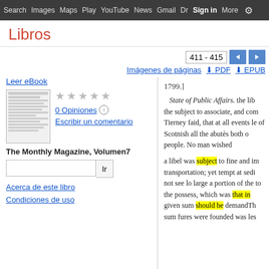Search  Images  Maps  Play  YouTube  News  Gmail  Drive  More  Sign in  Settings
Libros
411 - 415
Imágenes de páginas   PDF   EPUB
Leer eBook
0 Opiniones
Escribir un comentario
The Monthly Magazine, Volumen7
Ir
Acerca de este libro
Condiciones de uso
1799.]
State of Public Affairs. the lib the subject to associate, and com Tierney faid, that at all events le of Scotnish all the abutès both o people. No man wished
a libel was subject to fine and im transportation; yet tempt at sedi not see lo large a portion of the to the possess, which was that in given sum should be demandTh sum fures were founded was les